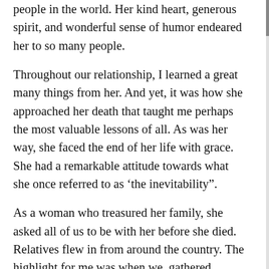people in the world. Her kind heart, generous spirit, and wonderful sense of humor endeared her to so many people.
Throughout our relationship, I learned a great many things from her. And yet, it was how she approached her death that taught me perhaps the most valuable lessons of all. As was her way, she faced the end of her life with grace. She had a remarkable attitude towards what she once referred to as ‘the inevitability”.
As a woman who treasured her family, she asked all of us to be with her before she died. Relatives flew in from around the country. The highlight for me was when we  gathered around her in a large circle in her living room.